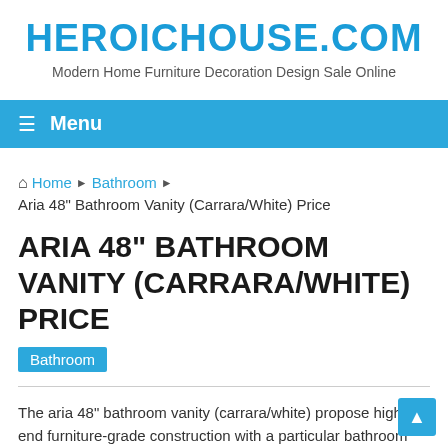HEROICHOUSE.COM
Modern Home Furniture Decoration Design Sale Online
≡ Menu
Home ▶ Bathroom ▶
Aria 48" Bathroom Vanity (Carrara/White) Price
ARIA 48" BATHROOM VANITY (CARRARA/WHITE) PRICE
Bathroom
The aria 48" bathroom vanity (carrara/white) propose high-end furniture-grade construction with a particular bathroom fixtures model. Moreover, it's a high-quality bathroom vanity and just under $1219 price.